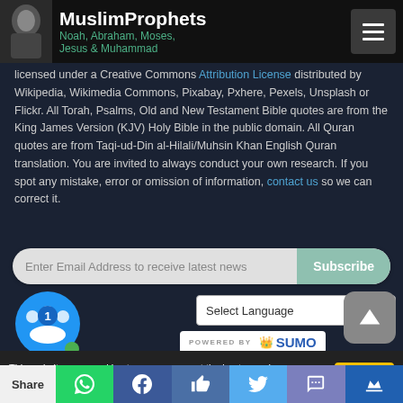MuslimProphets — Noah, Abraham, Moses, Jesus & Muhammad
... licensed under a Creative Commons Attribution License distributed by Wikipedia, Wikimedia Commons, Pixabay, Pxhere, Pexels, Unsplash or Flickr. All Torah, Psalms, Old and New Testament Bible quotes are from the King James Version (KJV) Holy Bible in the public domain. All Quran quotes are from Taqi-ud-Din al-Hilali/Muhsin Khan English Quran translation. You are invited to always conduct your own research. If you spot any mistake, error or omission of information, contact us so we can correct it.
[Figure (screenshot): Email subscription input with Subscribe button]
[Figure (screenshot): Chat bubble with 1 notification, Powered by SUMO logo, Select Language dropdown, scroll-to-top button]
This website uses cookies to ensure you get the best experience on our website More info
[Figure (screenshot): Social share bar: Share, WhatsApp, Facebook, Like, Twitter, SMS, SUMO]